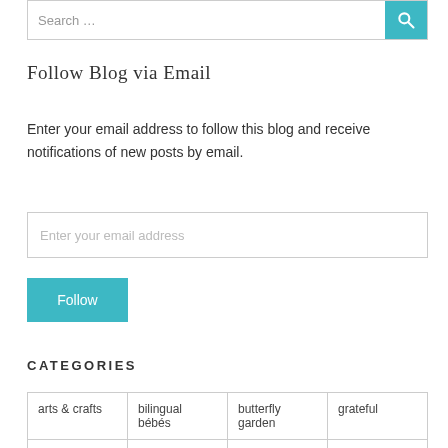[Figure (other): Search bar with teal search button icon at top of page]
Follow Blog via Email
Enter your email address to follow this blog and receive notifications of new posts by email.
[Figure (other): Email address input field with placeholder 'Enter your email address']
[Figure (other): Teal Follow button]
CATEGORIES
arts & crafts
bilingual bébés
butterfly garden
grateful